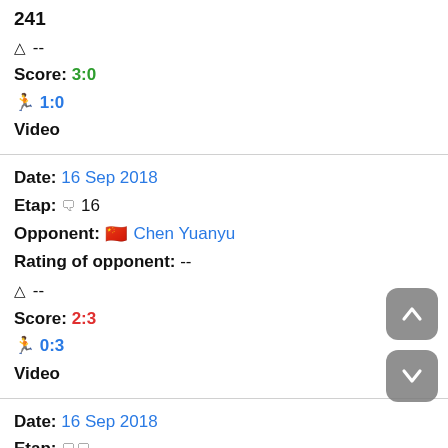241
Δ --
Score: 3:0
🏃 1:0
Video
Date: 16 Sep 2018
Etap: 🗨 16
Opponent: 🇨🇳 Chen Yuanyu
Rating of opponent: --
Δ --
Score: 2:3
🏃 0:3
Video
Date: 16 Sep 2018
Etap: 🗨🗨
+ 🇹🇼 Li Hsin-Yu 4
Opponent: 🇨🇳 Huang Youzheng 🇨🇳 Lin Shidong
Rating of opponent: --
--
Δ --